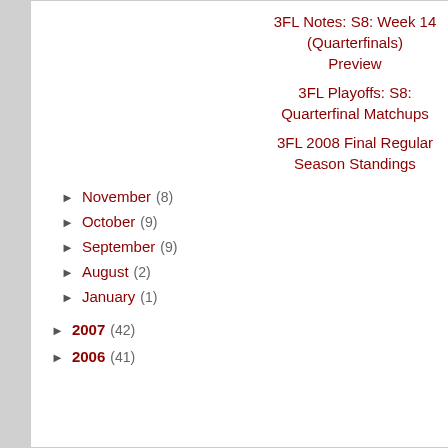3FL Notes: S8: Week 14 (Quarterfinals) Preview
3FL Playoffs: S8: Quarterfinal Matchups
3FL 2008 Final Regular Season Standings
► November (8)
► October (9)
► September (9)
► August (2)
► January (1)
► 2007 (42)
► 2006 (41)
11. The Gumly ...
12. Rough Rider...
Week 16 Recap
Top Scoring 3FL...
Player MVPs: DeAngelo William... Peyton Manning... Matt Cassel (QB...
Playoff Predicti...
League Voting: 6... Yahoo! Projectio...
Both the Dumbb...